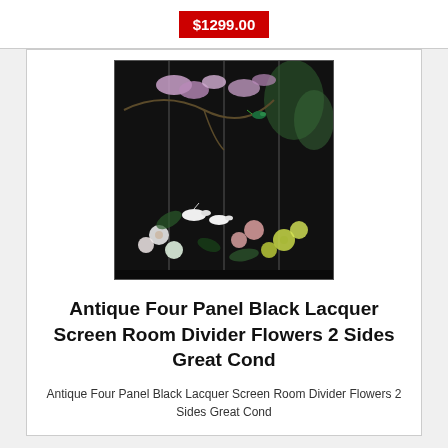$1299.00
[Figure (photo): Antique four panel black lacquer folding screen room divider with painted flowers, birds, and botanical designs on both sides]
Antique Four Panel Black Lacquer Screen Room Divider Flowers 2 Sides Great Cond
Antique Four Panel Black Lacquer Screen Room Divider Flowers 2 Sides Great Cond